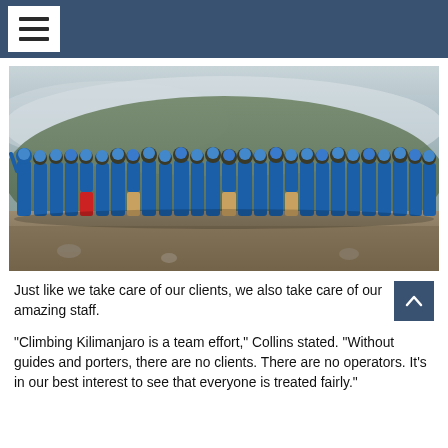[Figure (photo): Large group of approximately 25-30 staff members wearing blue jackets and blue caps standing together outdoors on rocky terrain with misty green hills in the background on Mount Kilimanjaro.]
Just like we take care of our clients, we also take care of our amazing staff.
“Climbing Kilimanjaro is a team effort,” Collins stated. “Without guides and porters, there are no clients. There are no operators. It’s in our best interest to see that everyone is treated fairly.”